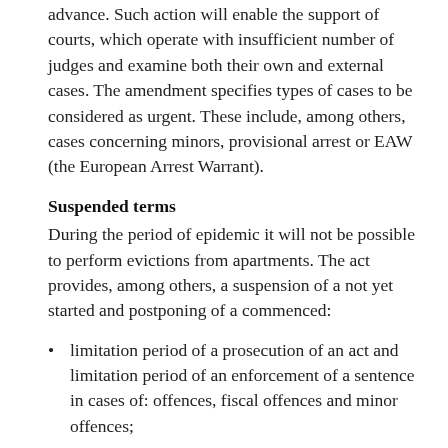advance. Such action will enable the support of courts, which operate with insufficient number of judges and examine both their own and external cases. The amendment specifies types of cases to be considered as urgent. These include, among others, cases concerning minors, provisional arrest or EAW (the European Arrest Warrant).
Suspended terms
During the period of epidemic it will not be possible to perform evictions from apartments. The act provides, among others, a suspension of a not yet started and postponing of a commenced:
limitation period of a prosecution of an act and limitation period of an enforcement of a sentence in cases of: offences, fiscal offences and minor offences;
proceeding and court's deadlines in legal proceedings, including administrative court proceedings, enforcement proceedings, criminal